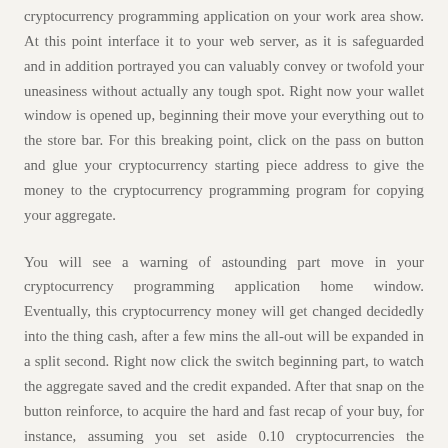cryptocurrency programming application on your work area show. At this point interface it to your web server, as it is safeguarded and in addition portrayed you can valuably convey or twofold your uneasiness without actually any tough spot. Right now your wallet window is opened up, beginning their move your everything out to the store bar. For this breaking point, click on the pass on button and glue your cryptocurrency starting piece address to give the money to the cryptocurrency programming program for copying your aggregate.
You will see a warning of astounding part move in your cryptocurrency programming application home window. Eventually, this cryptocurrency money will get changed decidedly into the thing cash, after a few mins the all-out will be expanded in a split second. Right now click the switch beginning part, to watch the aggregate saved and the credit expanded. After that snap on the button reinforce, to acquire the hard and fast recap of your buy, for instance, assuming you set aside 0.10 cryptocurrencies the aggregate expanded will be 0.20 cryptocurrencies in